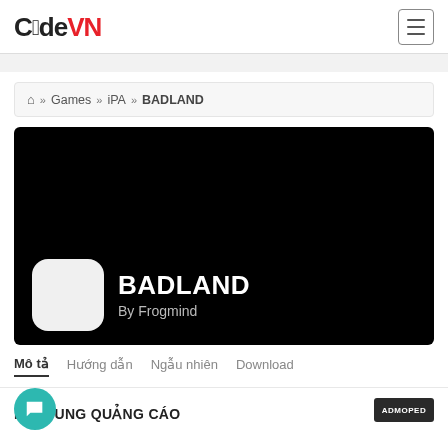CódeVN
» Games » iPA » BADLAND
[Figure (screenshot): Black hero banner image for the BADLAND game page, showing a white rounded-square app icon placeholder and the text BADLAND By Frogmind overlaid at the bottom.]
Mô tả  Hướng dẫn  Ngẫu nhiên  Download
NỘI DUNG QUẢNG CÁO